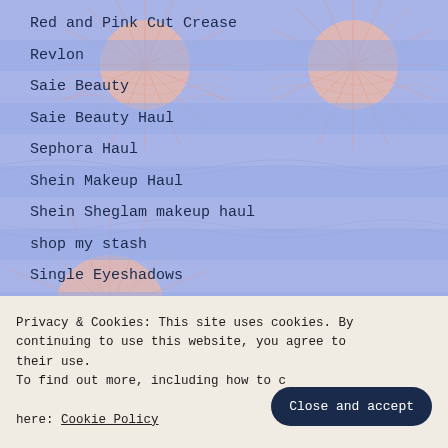Red and Pink Cut Crease
Revlon
Saie Beauty
Saie Beauty Haul
Sephora Haul
Shein Makeup Haul
Shein Sheglam makeup haul
shop my stash
Single Eyeshadows
Skin Care
Privacy & Cookies: This site uses cookies. By continuing to use this website, you agree to their use. To find out more, including how to control cookies, see here: Cookie Policy
Close and accept